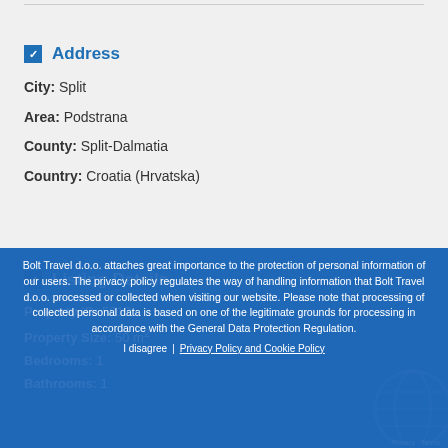Address
City: Split
Area: Podstrana
County: Split-Dalmatia
Country: Croatia (Hrvatska)
Listing Details
Property ID: 5810
Property Size: 50 m²
Bedrooms: 1
Bathrooms: 1
Bolt Travel d.o.o. attaches great importance to the protection of personal information of our users. The privacy policy regulates the way of handling information that Bolt Travel d.o.o. processed or collected when visiting our website. Please note that processing of collected personal data is based on one of the legitimate grounds for processing in accordance with the General Data Protection Regulation.
I disagree  Privacy Policy and Cookie Policy